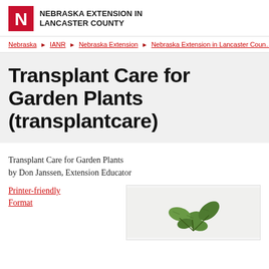NEBRASKA EXTENSION IN LANCASTER COUNTY
Nebraska ▶ IANR ▶ Nebraska Extension ▶ Nebraska Extension in Lancaster County
Transplant Care for Garden Plants (transplantcare)
Transplant Care for Garden Plants
by Don Janssen, Extension Educator
Printer-friendly Format
[Figure (photo): Photo of green garden plant seedlings/transplants on a white/light background]